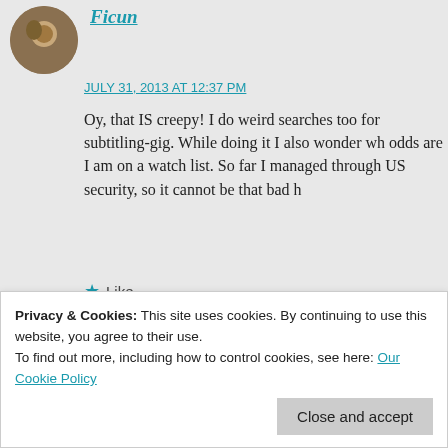[Figure (photo): Circular avatar photo of a person, brown/gold tones, top-left of page]
Ficun
JULY 31, 2013 AT 12:37 PM
Oy, that IS creepy! I do weird searches too for subtitling-gig. While doing it I also wonder what odds are I am on a watch list. So far I managed through US security, so it cannot be that bad h
Like
REPLY
[Figure (photo): Circular avatar photo of Diane Henders, woman with reddish-brown hair]
Diane Henders
Privacy & Cookies: This site uses cookies. By continuing to use this website, you agree to their use.
To find out more, including how to control cookies, see here: Our Cookie Policy
Close and accept
all.